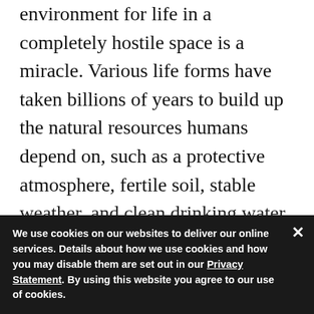environment for life in a completely hostile space is a miracle. Various life forms have taken billions of years to build up the natural resources humans depend on, such as a protective atmosphere, fertile soil, stable weather, and clean drinking water.
As a movement to democratize technology development and knowledge creation, open source has the potential to become the central driver in preserving this stability. Here are four different ways you can preserve the livability of the planet by using, supporting, and participating
Measure, op
We use cookies on our websites to deliver our online services. Details about how we use cookies and how you may disable them are set out in our Privacy Statement. By using this website you agree to our use of cookies.